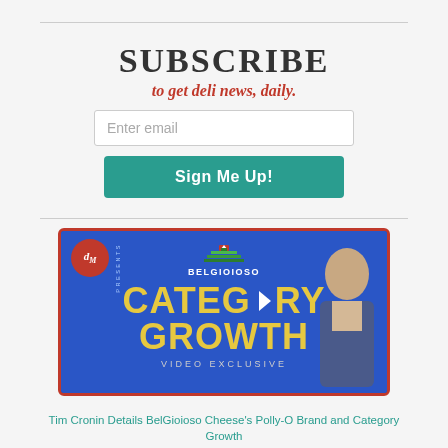SUBSCRIBE
to get deli news, daily.
Enter email
Sign Me Up!
[Figure (screenshot): Video thumbnail for BelGioioso Cheese Category Growth video exclusive, featuring a man in a suit on a blue background with yellow text reading CATEGORY GROWTH and a play button, with the BelGioioso logo and a dM presents badge.]
Tim Cronin Details BelGioioso Cheese's Polly-O Brand and Category Growth